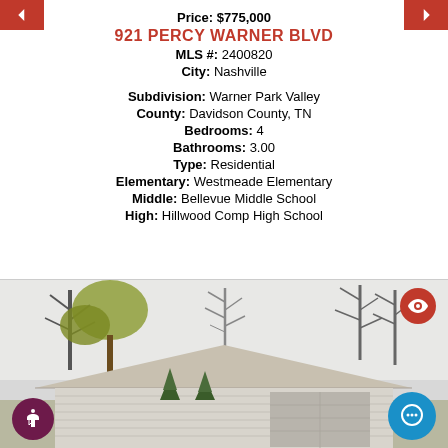Price: $775,000
921 PERCY WARNER BLVD
MLS #: 2400820
City: Nashville
Subdivision: Warner Park Valley
County: Davidson County, TN
Bedrooms: 4
Bathrooms: 3.00
Type: Residential
Elementary: Westmeade Elementary
Middle: Bellevue Middle School
High: Hillwood Comp High School
[Figure (photo): Exterior photo of a single-story residential home with trees in background, light gray roof visible, bare winter trees]